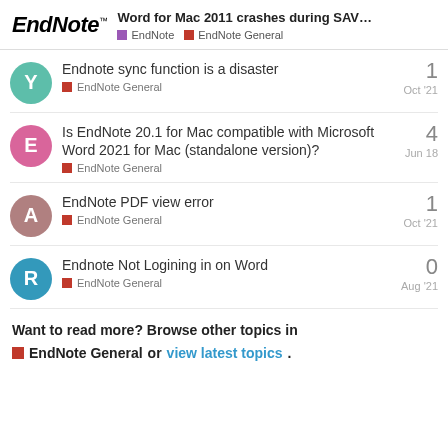EndNote™ Word for Mac 2011 crashes during SAV... — EndNote  EndNote General
Endnote sync function is a disaster — EndNote General — 1 — Oct '21
Is EndNote 20.1 for Mac compatible with Microsoft Word 2021 for Mac (standalone version)? — EndNote General — 4 — Jun 18
EndNote PDF view error — EndNote General — 1 — Oct '21
Endnote Not Logining in on Word — EndNote General — 0 — Aug '21
Want to read more? Browse other topics in EndNote General or view latest topics.